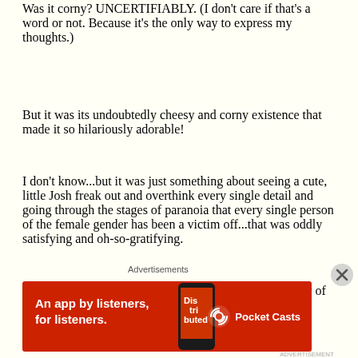Was it corny? UNCERTIFIABLY. (I don't care if that's a word or not. Because it's the only way to express my thoughts.)
But it was its undoubtedly cheesy and corny existence that made it so hilariously adorable!
I don't know...but it was just something about seeing a cute, little Josh freak out and overthink every single detail and going through the stages of paranoia that every single person of the female gender has been a victim off...that was oddly satisfying and oh-so-gratifying.
So to kick this thing off, let's start with a quick summary of this lovable movie.
[Figure (screenshot): Red advertisement banner for Pocket Casts app reading 'An app by listeners, for listeners.' with phone image and Pocket Casts logo]